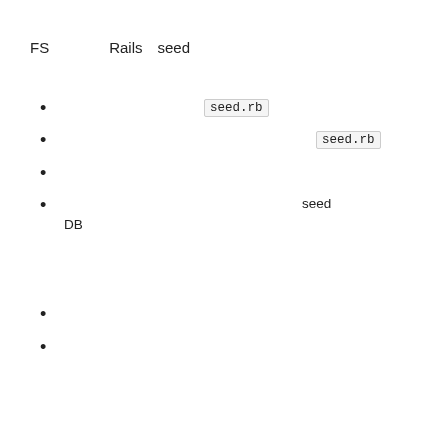FS　　　　Rails　seed
seed.rb
seed.rb
seed　　　　　　　　DB